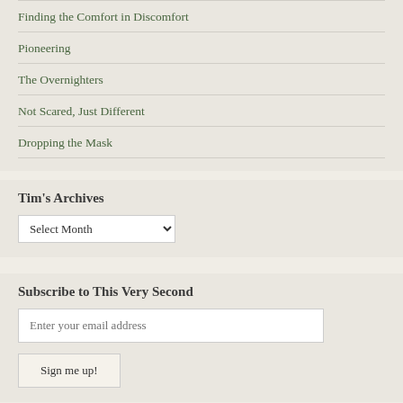Finding the Comfort in Discomfort
Pioneering
The Overnighters
Not Scared, Just Different
Dropping the Mask
Tim's Archives
Select Month (dropdown)
Subscribe to This Very Second
Enter your email address
Sign me up!